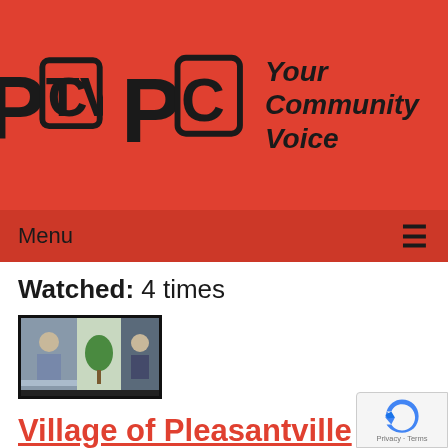[Figure (logo): PCTV logo with stylized PC letters inside a TV screen shape, with tagline 'Your Community Voice' on red background]
Menu ≡
Watched: 4 times
[Figure (screenshot): Video thumbnail showing a meeting scene with three panels]
Village of Pleasantville Work Session of 07-11-2022